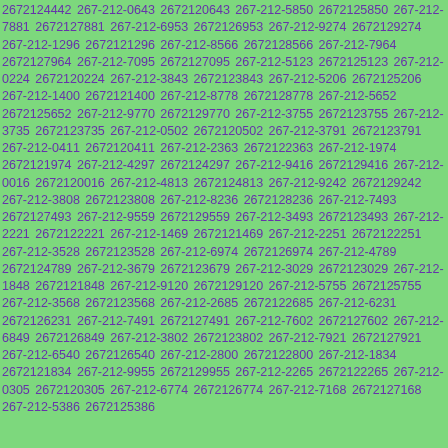2672124442 267-212-0643 2672120643 267-212-5850 2672125850 267-212-7881 2672127881 267-212-6953 2672126953 267-212-9274 2672129274 267-212-1296 2672121296 267-212-8566 2672128566 267-212-7964 2672127964 267-212-7095 2672127095 267-212-5123 2672125123 267-212-0224 2672120224 267-212-3843 2672123843 267-212-5206 2672125206 267-212-1400 2672121400 267-212-8778 2672128778 267-212-5652 2672125652 267-212-9770 2672129770 267-212-3755 2672123755 267-212-3735 2672123735 267-212-0502 2672120502 267-212-3791 2672123791 267-212-0411 2672120411 267-212-2363 2672122363 267-212-1974 2672121974 267-212-4297 2672124297 267-212-9416 2672129416 267-212-0016 2672120016 267-212-4813 2672124813 267-212-9242 2672129242 267-212-3808 2672123808 267-212-8236 2672128236 267-212-7493 2672127493 267-212-9559 2672129559 267-212-3493 2672123493 267-212-2221 2672122221 267-212-1469 2672121469 267-212-2251 2672122251 267-212-3528 2672123528 267-212-6974 2672126974 267-212-4789 2672124789 267-212-3679 2672123679 267-212-3029 2672123029 267-212-1848 2672121848 267-212-9120 2672129120 267-212-5755 2672125755 267-212-3568 2672123568 267-212-2685 2672122685 267-212-6231 2672126231 267-212-7491 2672127491 267-212-7602 2672127602 267-212-6849 2672126849 267-212-3802 2672123802 267-212-7921 2672127921 267-212-6540 2672126540 267-212-2800 2672122800 267-212-1834 2672121834 267-212-9955 2672129955 267-212-2265 2672122265 267-212-0305 2672120305 267-212-6774 2672126774 267-212-7168 2672127168 267-212-5386 2672125386